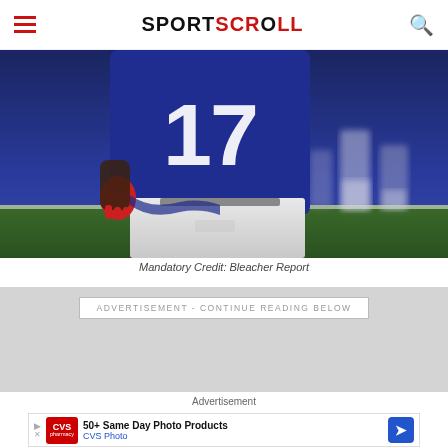SPORTSCROLL
[Figure (photo): Football player wearing blue jersey #17, pulling up the jersey, with white pants and a red glove. Background shows other players on a field.]
Mandatory Credit: Bleacher Report
ADVERTISEMENT - CONTINUE READING BELOW
Advertisement
[Figure (screenshot): CVS Pharmacy advertisement: 50+ Same Day Photo Products - CVS Photo, with blue arrow button and CVS logo]